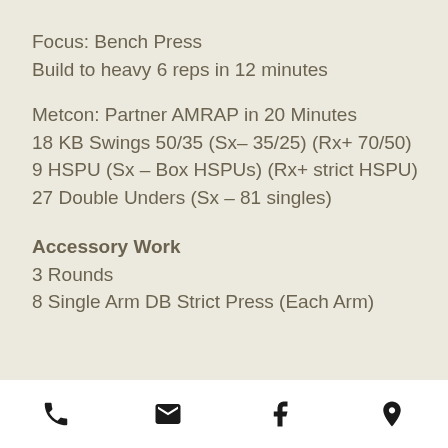Focus: Bench Press
Build to heavy 6 reps in 12 minutes
Metcon: Partner AMRAP in 20 Minutes
18 KB Swings 50/35 (Sx– 35/25) (Rx+ 70/50)
9 HSPU (Sx – Box HSPUs) (Rx+ strict HSPU)
27 Double Unders (Sx – 81 singles)
Accessory Work
3 Rounds
8 Single Arm DB Strict Press (Each Arm)
phone | email | facebook | location icons